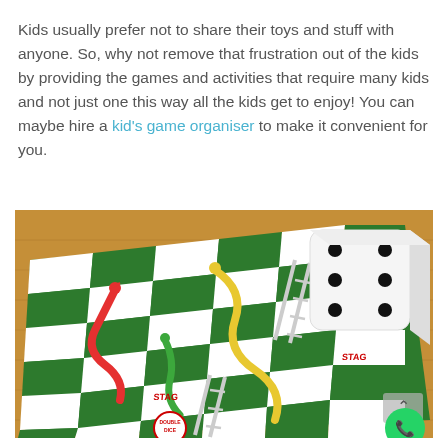Kids usually prefer not to share their toys and stuff with anyone. So, why not remove that frustration out of the kids by providing the games and activities that require many kids and not just one this way all the kids get to enjoy! You can maybe hire a kid's game organiser to make it convenient for you.
[Figure (photo): A large floor-sized Snakes and Ladders board game laid out on a wooden floor, featuring green and white checker pattern with colorful snakes and ladders, and a large foam dice placed on the board.]